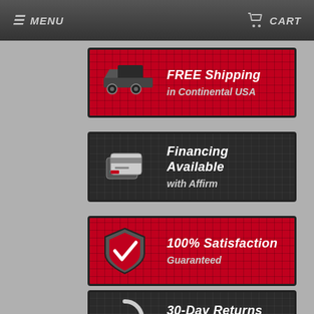MENU  CART
[Figure (infographic): Red banner with truck icon: FREE Shipping in Continental USA]
[Figure (infographic): Dark banner with credit card icon: Financing Available with Affirm]
[Figure (infographic): Red banner with shield/checkmark icon: 100% Satisfaction Guaranteed]
[Figure (infographic): Dark banner with returns icon: 30-Day Returns Hassle Free (partially visible)]